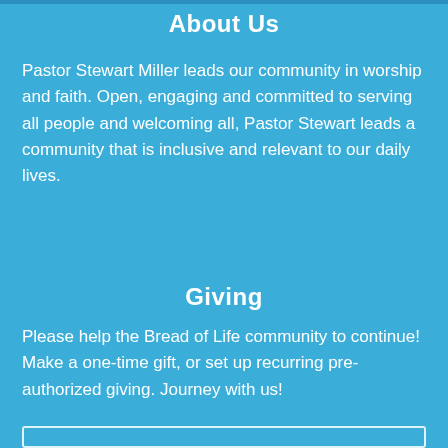About Us
Pastor Stewart Miller leads our community in worship and faith. Open, engaging and committed to serving all people and welcoming all, Pastor Stewart leads a community that is inclusive and relevant to our daily lives.
Giving
Please help the Bread of Life community to continue! Make a one-time gift, or set up recurring pre-authorized giving. Journey with us!